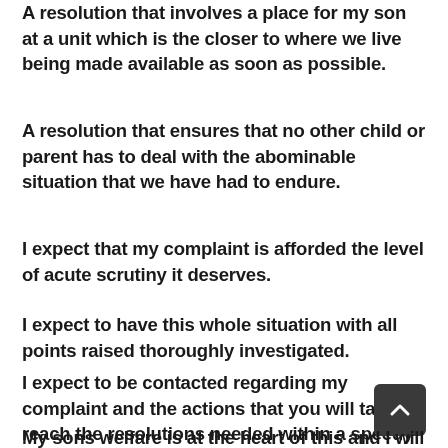A resolution that involves a place for my son at a unit which is the closer to where we live being made available as soon as possible.
A resolution that ensures that no other child or parent has to deal with the abominable situation that we have had to endure.
I expect that my complaint is afforded the level of acute scrutiny it deserves.
I expect to have this whole situation with all points raised thoroughly investigated.
I expect to be contacted regarding my complaint and the actions that you will take to reach the resolutions needed within a speedy time.
My sons welfare is at the heart of this and I will not rest